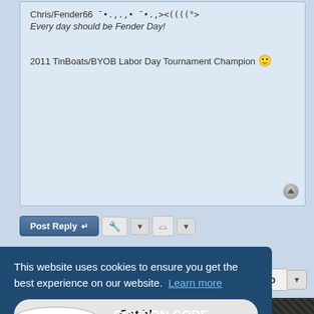Chris/Fender66 •.,.,•  •.,><((((°>
Every day should be Fender Day!
2011 TinBoats/BYOB Labor Day Tournament Champion 🙂
Post Reply
15 posts • Page 1 of 1
Jump to
[Figure (screenshot): Hydro-Turf advertisement banner with logo and coupon code HYDRO15 for 15% off]
This website uses cookies to ensure you get the best experience on our website. Learn more
Got it!